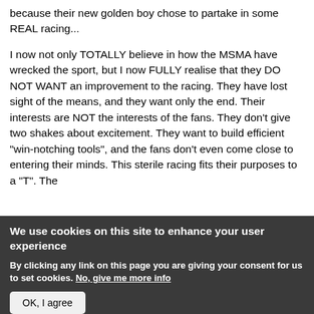because their new golden boy chose to partake in some REAL racing...
I now not only TOTALLY believe in how the MSMA have wrecked the sport, but I now FULLY realise that they DO NOT WANT an improvement to the racing. They have lost sight of the means, and they want only the end. Their interests are NOT the interests of the fans. They don't give two shakes about excitement. They want to build efficient "win-notching tools", and the fans don't even come close to entering their minds. This sterile racing fits their purposes to a "T". The
We use cookies on this site to enhance your user experience
By clicking any link on this page you are giving your consent for us to set cookies. No, give me more info
OK, I agree